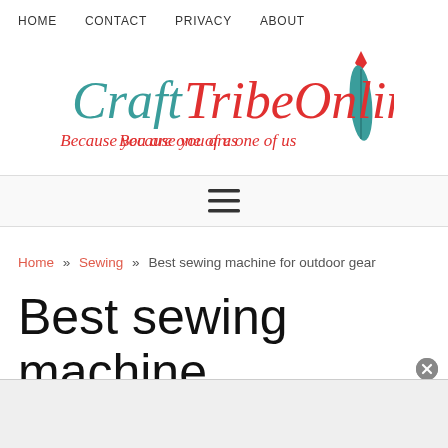HOME   CONTACT   PRIVACY   ABOUT
[Figure (logo): CraftTribeOnline logo with teal script text and red accent feather, tagline 'Because you are one of us']
[Figure (other): Hamburger menu icon (three horizontal lines)]
Home » Sewing » Best sewing machine for outdoor gear
Best sewing machine